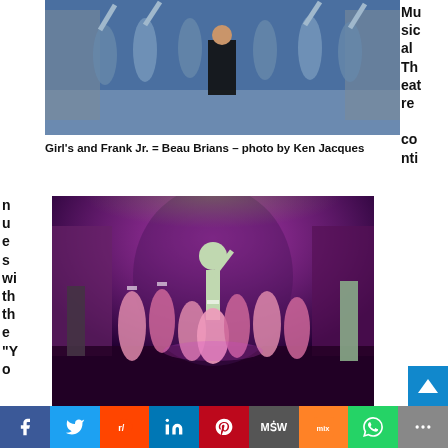[Figure (photo): Stage performance showing dancers in costume with a central male performer in black, nurses/chorus girls in teal/blue outfits on a colorful stage set]
Girl's and Frank Jr. = Beau Brians – photo by Ken Jacques
Musical Theatre conti
nues with the "Yo
[Figure (photo): Stage performance showing ensemble cast in pink/purple lighting, nurses in pink costumes with a central performer, dramatic purple stage lighting]